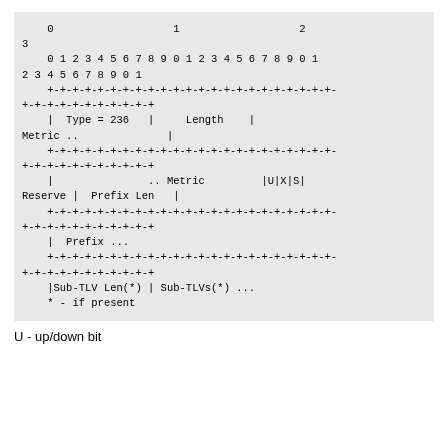[Figure (schematic): Network protocol TLV (Type-Length-Value) bit field diagram showing a 32-bit wide format with fields: Type=236, Length, Metric (continued), U/X/S flags, Reserve, Prefix Len, Prefix, Sub-TLV Len(*), Sub-TLVs(*)]
U - up/down bit